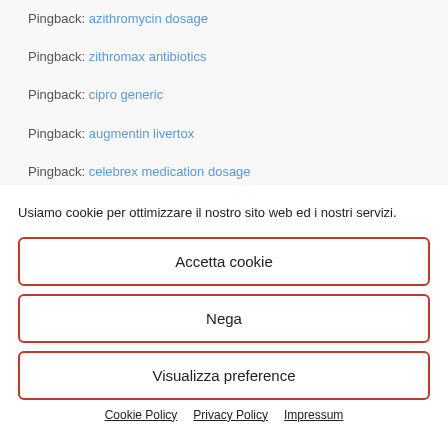Pingback: azithromycin dosage
Pingback: zithromax antibiotics
Pingback: cipro generic
Pingback: augmentin livertox
Pingback: celebrex medication dosage
Usiamo cookie per ottimizzare il nostro sito web ed i nostri servizi.
Accetta cookie
Nega
Visualizza preference
Cookie Policy  Privacy Policy  Impressum